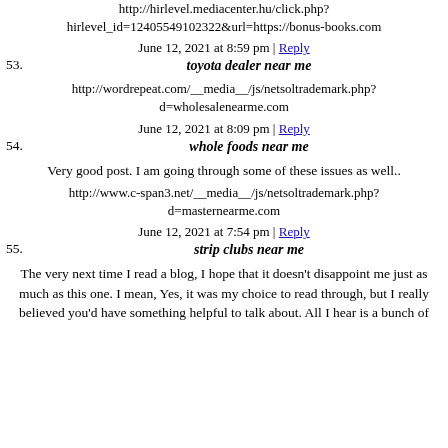http://hirlevel.mediacenter.hu/click.php?hirlevel_id=12405549102322&url=https://bonus-books.com
June 12, 2021 at 8:59 pm | Reply
53. toyota dealer near me
http://wordrepeat.com/__media__/js/netsoltrademark.php?d=wholesalenearme.com
June 12, 2021 at 8:09 pm | Reply
54. whole foods near me
Very good post. I am going through some of these issues as well..
http://www.c-span3.net/__media__/js/netsoltrademark.php?d=masternearme.com
June 12, 2021 at 7:54 pm | Reply
55. strip clubs near me
The very next time I read a blog, I hope that it doesn't disappoint me just as much as this one. I mean, Yes, it was my choice to read through, but I really believed you'd have something helpful to talk about. All I hear is a bunch of